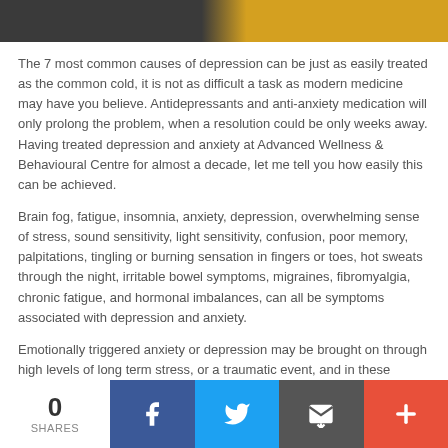[Figure (photo): Cropped photo strip showing partial faces/clothing — dark tones on left, yellow/golden tones on right]
The 7 most common causes of depression can be just as easily treated as the common cold, it is not as difficult a task as modern medicine may have you believe. Antidepressants and anti-anxiety medication will only prolong the problem, when a resolution could be only weeks away. Having treated depression and anxiety at Advanced Wellness & Behavioural Centre for almost a decade, let me tell you how easily this can be achieved.
Brain fog, fatigue, insomnia, anxiety, depression, overwhelming sense of stress, sound sensitivity, light sensitivity, confusion, poor memory, palpitations, tingling or burning sensation in fingers or toes, hot sweats through the night, irritable bowel symptoms, migraines, fibromyalgia, chronic fatigue, and hormonal imbalances, can all be symptoms associated with depression and anxiety.
Emotionally triggered anxiety or depression may be brought on through high levels of long term stress, or a traumatic event, and in these cases, the stress or depression may run its course, though
0 SHARES  [Facebook] [Twitter] [Email] [More]